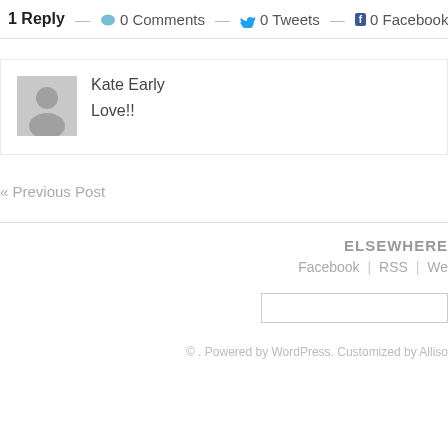1 Reply — 0 Comments — 0 Tweets — 0 Facebook
Kate Early
Love!!
« Previous Post
ELSEWHERE
Facebook | RSS | We
© . Powered by WordPress. Customized by Alliso